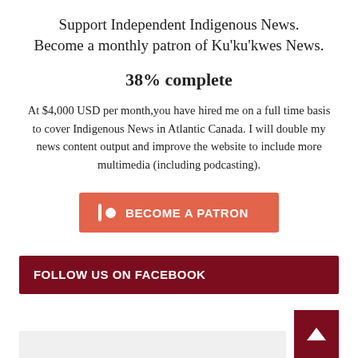Support Independent Indigenous News. Become a monthly patron of Ku'ku'kwes News.
38% complete
At $4,000 USD per month,you have hired me on a full time basis to cover Indigenous News in Atlantic Canada. I will double my news content output and improve the website to include more multimedia (including podcasting).
[Figure (other): Become a Patron button in coral/salmon red with Patreon-style icon (vertical bar and circle) and text 'BECOME A PATRON']
FOLLOW US ON FACEBOOK